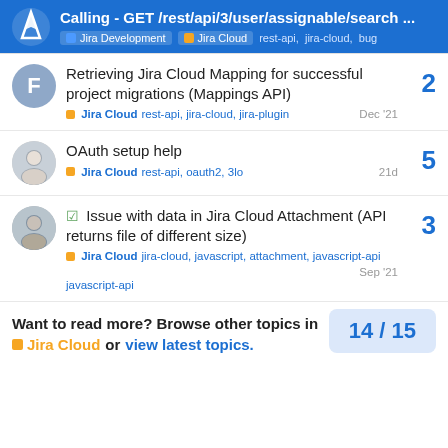Calling - GET /rest/api/3/user/assignable/search ... | Jira Development | Jira Cloud | rest-api, jira-cloud, bug
Retrieving Jira Cloud Mapping for successful project migrations (Mappings API) | Jira Cloud | rest-api, jira-cloud, jira-plugin | Dec '21 | replies: 2
OAuth setup help | Jira Cloud | rest-api, oauth2, 3lo | 21d | replies: 5
Issue with data in Jira Cloud Attachment (API returns file of different size) | Jira Cloud | jira-cloud, javascript, attachment, javascript-api | Sep '21 | replies: 3
Want to read more? Browse other topics in Jira Cloud or view latest topics. 14 / 15